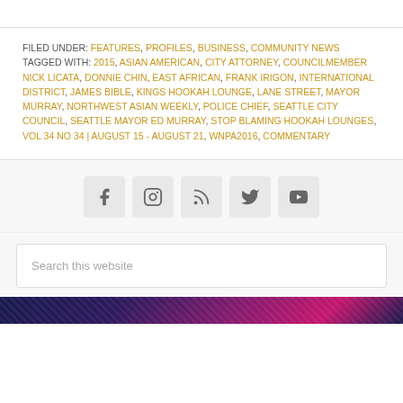FILED UNDER: FEATURES, PROFILES, BUSINESS, COMMUNITY NEWS
TAGGED WITH: 2015, ASIAN AMERICAN, CITY ATTORNEY, COUNCILMEMBER NICK LICATA, DONNIE CHIN, EAST AFRICAN, FRANK IRIGON, INTERNATIONAL DISTRICT, JAMES BIBLE, KINGS HOOKAH LOUNGE, LANE STREET, MAYOR MURRAY, NORTHWEST ASIAN WEEKLY, POLICE CHIEF, SEATTLE CITY COUNCIL, SEATTLE MAYOR ED MURRAY, STOP BLAMING HOOKAH LOUNGES, VOL 34 NO 34 | AUGUST 15 - AUGUST 21, WNPA2016, COMMENTARY
[Figure (other): Social media icons: Facebook, Instagram, RSS feed, Twitter, YouTube]
Search this website
[Figure (photo): Decorative footer image with dark purple, magenta, and blue tones with wave patterns]